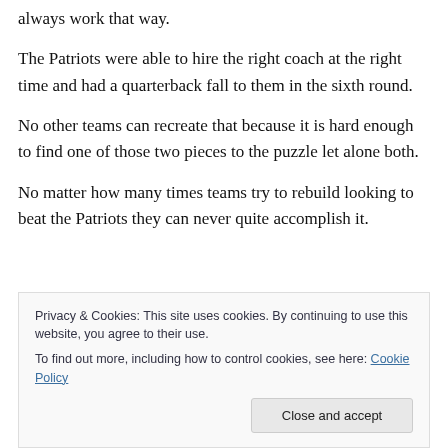always work that way.
The Patriots were able to hire the right coach at the right time and had a quarterback fall to them in the sixth round.
No other teams can recreate that because it is hard enough to find one of those two pieces to the puzzle let alone both.
No matter how many times teams try to rebuild looking to beat the Patriots they can never quite accomplish it.
That dominance never lasts though, as the Patriots will
Privacy & Cookies: This site uses cookies. By continuing to use this website, you agree to their use.
To find out more, including how to control cookies, see here: Cookie Policy